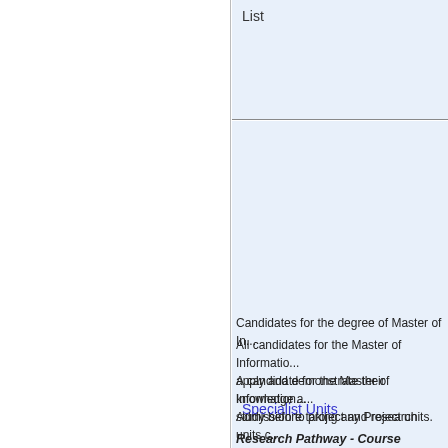List
Specialist Units
Candidates for the degree of Master of In...
All candidates for the Master of Informatio... apply and demonstrate their knowledge a...
A candidate for the Master of Information... study before taking any Project units.
Admission to project and research units c...
Research Pathway - Course Requireme...